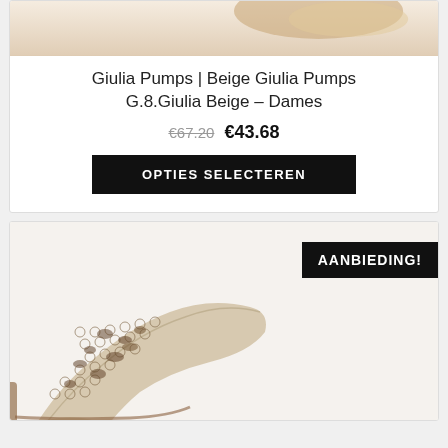[Figure (photo): Top portion of a beige pump shoe, cropped at top of card]
Giulia Pumps | Beige Giulia Pumps G.8.Giulia Beige – Dames
€67.20 €43.68
OPTIES SELECTEREN
[Figure (photo): Snakeskin-patterned pump shoe, partially cropped, with AANBIEDING! badge in top right corner]